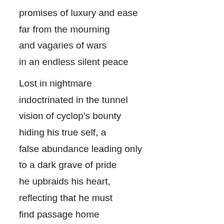promises of luxury and ease
far from the mourning
and vagaries of wars
in an endless silent peace

Lost in nightmare
indoctrinated in the tunnel
vision of cyclop's bounty
hiding his true self, a
false abundance leading only
to a dark grave of pride
he upbraids his heart,
reflecting that he must
find passage home
a fiery hearth and
way to his beloved
endure, o heart